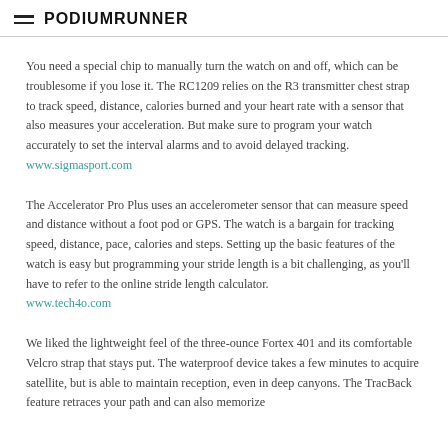PodiumRunner
You need a special chip to manually turn the watch on and off, which can be troublesome if you lose it. The RC1209 relies on the R3 transmitter chest strap to track speed, distance, calories burned and your heart rate with a sensor that also measures your acceleration. But make sure to program your watch accurately to set the interval alarms and to avoid delayed tracking. www.sigmasport.com
The Accelerator Pro Plus uses an accelerometer sensor that can measure speed and distance without a foot pod or GPS. The watch is a bargain for tracking speed, distance, pace, calories and steps. Setting up the basic features of the watch is easy but programming your stride length is a bit challenging, as you'll have to refer to the online stride length calculator. www.tech4o.com
We liked the lightweight feel of the three-ounce Fortex 401 and its comfortable Velcro strap that stays put. The waterproof device takes a few minutes to acquire satellite, but is able to maintain reception, even in deep canyons. The TracBack feature retraces your path and can also memorize